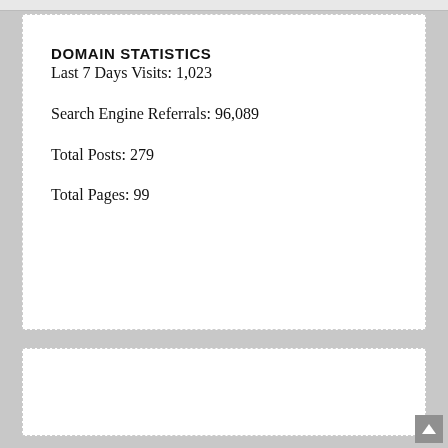DOMAIN STATISTICS
Last 7 Days Visits: 1,023
Search Engine Referrals: 96,089
Total Posts: 279
Total Pages: 99